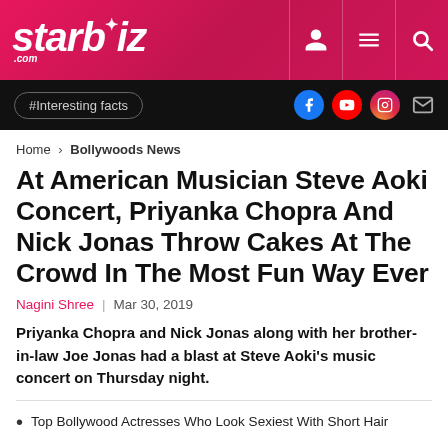starbiz.com
#Interesting facts
Home > Bollywoods News
At American Musician Steve Aoki Concert, Priyanka Chopra And Nick Jonas Throw Cakes At The Crowd In The Most Fun Way Ever
Nagini Shree | Mar 30, 2019
Priyanka Chopra and Nick Jonas along with her brother-in-law Joe Jonas had a blast at Steve Aoki's music concert on Thursday night.
Top Bollywood Actresses Who Look Sexiest With Short Hair